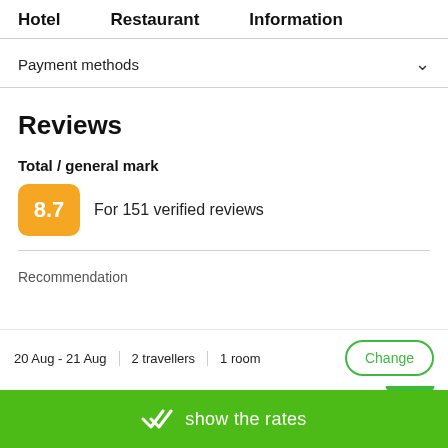Hotel   Restaurant   Information
Payment methods
Reviews
Total / general mark
8.7  For 151 verified reviews
Recommendation
20 Aug - 21 Aug  |  2 travellers  |  1 room  |  Change
show the rates